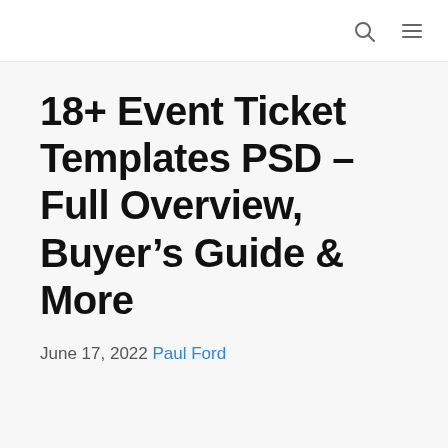[search icon] [menu icon]
18+ Event Ticket Templates PSD – Full Overview, Buyer's Guide & More
June 17, 2022 Paul Ford